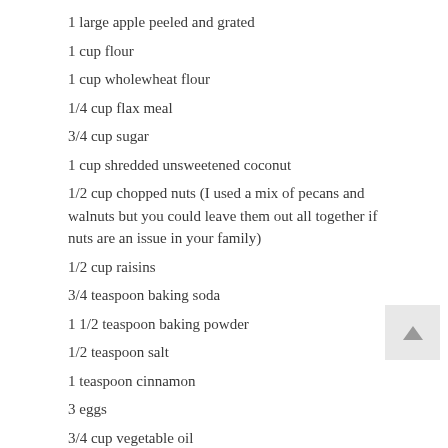1 large apple peeled and grated
1 cup flour
1 cup wholewheat flour
1/4 cup flax meal
3/4 cup sugar
1 cup shredded unsweetened coconut
1/2 cup chopped nuts (I used a mix of pecans and walnuts but you could leave them out all together if nuts are an issue in your family)
1/2 cup raisins
3/4 teaspoon baking soda
1 1/2 teaspoon baking powder
1/2 teaspoon salt
1 teaspoon cinnamon
3 eggs
3/4 cup vegetable oil
1 teaspoon vanilla
Method
Preheat oven to 350 degrees.